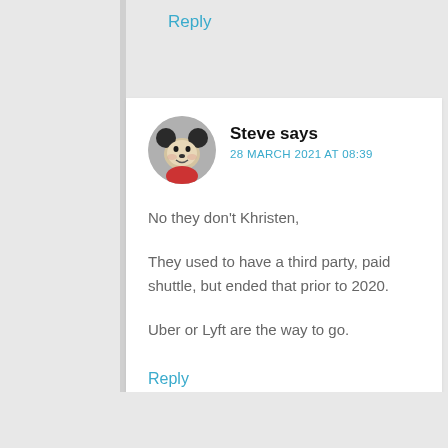Reply
Steve says
28 MARCH 2021 AT 08:39
No they don't Khristen,

They used to have a third party, paid shuttle, but ended that prior to 2020.

Uber or Lyft are the way to go.
Reply